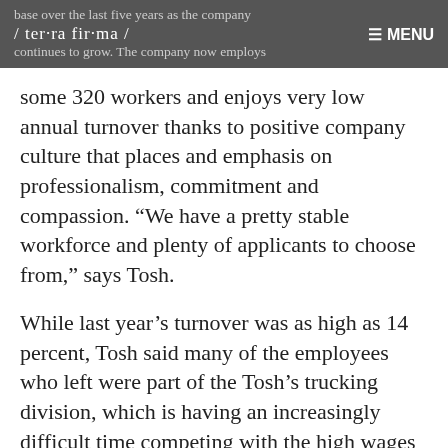base over the last five years as the company continues to grow. The company now employs / ter·ra fir·ma / ≡ MENU
some 320 workers and enjoys very low annual turnover thanks to positive company culture that places and emphasis on professionalism, commitment and compassion. “We have a pretty stable workforce and plenty of applicants to choose from,” says Tosh.
While last year’s turnover was as high as 14 percent, Tosh said many of the employees who left were part of the Tosh’s trucking division, which is having an increasingly difficult time competing with the high wages offered by long-haul trucking companies.